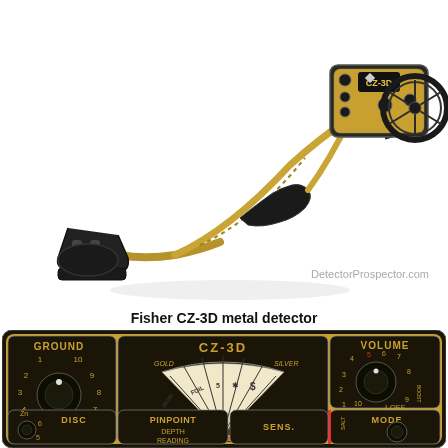[Figure (photo): Fisher CZ-3D metal detector full device photo on white background, showing the control box, S-rod, grip, and search coil. Gold and black color scheme. Watermark: DetectorProspector.com]
Fisher CZ-3D metal detector
[Figure (photo): Close-up photo of the Fisher CZ-3D metal detector control panel face. Shows GROUND dial (1-10), CZ-3D logo, VOLUME dial (1-10, BOOST, OFF), a target ID fan display with GOLD/SILVER arc and IRON/FOIL/5/S segments with depth readings 8"/6"/4"/2", SENS. label, PINPOINT DEPTH READING section, DISC dial with Zn/5/6 markings, and MODE dial with SALT label.]